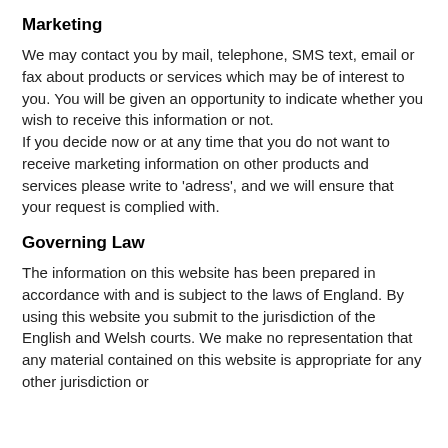Marketing
We may contact you by mail, telephone, SMS text, email or fax about products or services which may be of interest to you. You will be given an opportunity to indicate whether you wish to receive this information or not.
If you decide now or at any time that you do not want to receive marketing information on other products and services please write to 'adress', and we will ensure that your request is complied with.
Governing Law
The information on this website has been prepared in accordance with and is subject to the laws of England. By using this website you submit to the jurisdiction of the English and Welsh courts. We make no representation that any material contained on this website is appropriate for any other jurisdiction or